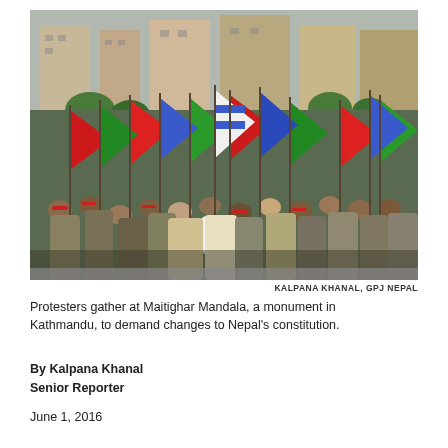[Figure (photo): A large crowd of protesters at Maitighar Mandala in Kathmandu, Nepal, holding numerous colorful flags including red, green, blue, and white flags. People are wearing headbands and traditional dress. City buildings are visible in the background.]
KALPANA KHANAL, GPJ NEPAL
Protesters gather at Maitighar Mandala, a monument in Kathmandu, to demand changes to Nepal's constitution.
By Kalpana Khanal
Senior Reporter
June 1, 2016